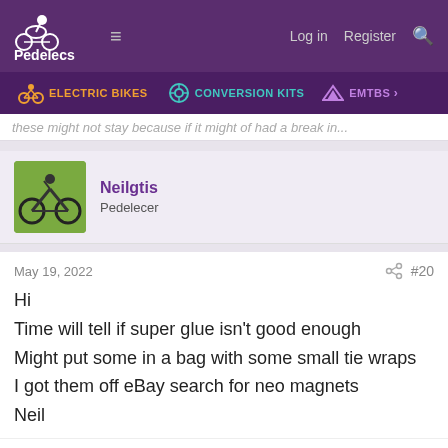Pedelecs — Log in  Register
ELECTRIC BIKES  CONVERSION KITS  EMTBS
These might not stay because if it might of had a break in...
Neilgtis
Pedelecer
May 19, 2022  #20
Hi
Time will tell if super glue isn't good enough
Might put some in a bag with some small tie wraps
I got them off eBay search for neo magnets
Neil
guerney